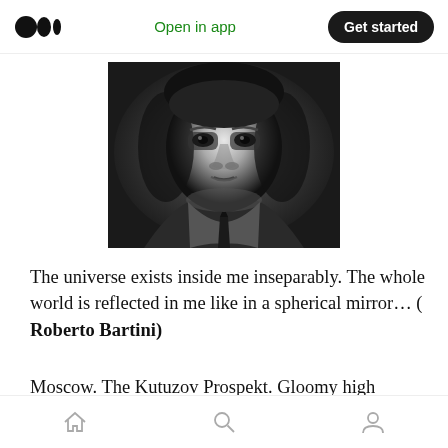Medium app header — Open in app | Get started
[Figure (photo): Black and white portrait photograph of a man in a suit and tie, looking intensely at camera, high-contrast dramatic lighting]
The universe exists inside me inseparably. The whole world is reflected in me like in a spherical mirror… ( Roberto Bartini)
Moscow. The Kutuzov Prospekt. Gloomy high buildings in a Stalin-style architecture. The
Home | Search | Profile